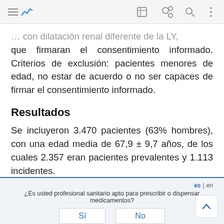[App navigation bar with icons]
que firmaran el consentimiento informado. Criterios de exclusión: pacientes menores de edad, no estar de acuerdo o no ser capaces de firmar el consentimiento informado.
Resultados
Se incluyeron 3.470 pacientes (63% hombres), con una edad media de 67,9 ± 9,7 años, de los cuales 2.357 eran pacientes prevalentes y 1.113 incidentes.
es | en  ¿Es usted profesional sanitario apto para prescribir o dispensar medicamentos?  Sí  No